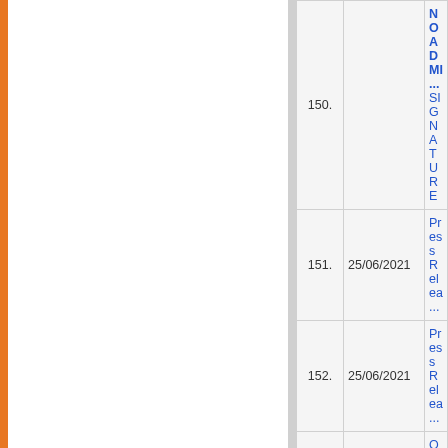| No. | Date | Title |
| --- | --- | --- |
| 150. |  | NO ADMIN SIGNATURE |
| 151. | 25/06/2021 | Press Relea... |
| 152. | 25/06/2021 | Press Relea... |
| 153. | 22/06/2021 | Quotation fo... (with carriage... |
| 154. | 21/06/2021 | Quotation fo... various Entra... |
| 155. | 17/06/2021 | 2nd SEMEST... JULY 2021: ... |
| 156. | 16/06/2021 | USOL / PRIV... FOR APPEA... |
| 157. | 16/06/2021 | REGULAR S... DEPARTME... FOR APPEA... |
| 158. | 16/06/2021 | REPRESEN... PAGES (PG... |
| 159. | 16/06/2021 | REPRESEN... PAGES (UG... |
| 160. | 10/06/2021 | Revised Pra... voce/present... |
| 161. | 01/06/2021 | Practical Exa... |